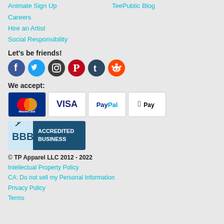Animate Sign Up
TeePublic Blog
Careers
Hire an Artist
Social Responsibility
Let's be friends!
[Figure (infographic): Social media icons: Facebook, Twitter, Instagram, Pinterest, Tumblr, Reddit]
We accept:
[Figure (infographic): Payment method icons: MasterCard, Visa, PayPal, Apple Pay]
[Figure (logo): BBB Accredited Business badge]
© TP Apparel LLC 2012 - 2022
Intellectual Property Policy
CA: Do not sell my Personal Information
Privacy Policy
Terms